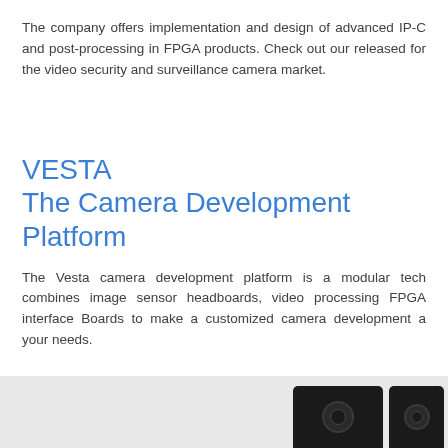The company offers implementation and design of advanced IP-C and post-processing in FPGA products. Check out our released for the video security and surveillance camera market.
VESTA
The Camera Development Platform
The Vesta camera development platform is a modular tech combines image sensor headboards, video processing FPGA interface Boards to make a customized camera development a your needs.
[Figure (photo): Two dark/black rectangular camera module hardware devices with circular lenses visible, shown at the bottom of the page on a light gray background.]